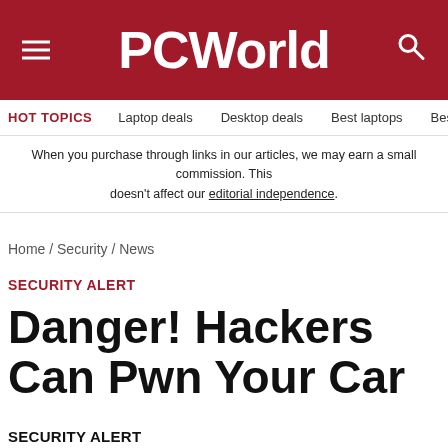PCWorld
HOT TOPICS   Laptop deals   Desktop deals   Best laptops   Best ch
When you purchase through links in our articles, we may earn a small commission. This doesn't affect our editorial independence.
Home / Security / News
SECURITY ALERT
Danger! Hackers Can Pwn Your Car
SECURITY ALERT
By Tony Bradley, PCWorld  |  SEP 7, 2011 9:46 AM PDT